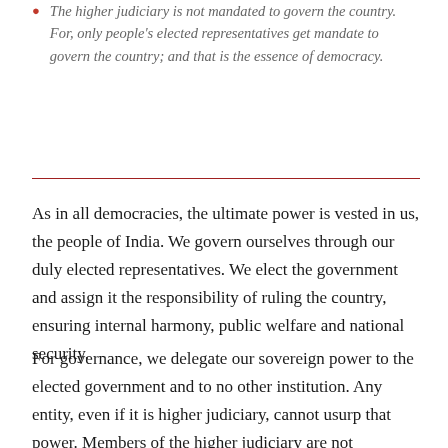The higher judiciary is not mandated to govern the country. For, only people's elected representatives get mandate to govern the country; and that is the essence of democracy.
As in all democracies, the ultimate power is vested in us, the people of India. We govern ourselves through our duly elected representatives. We elect the government and assign it the responsibility of ruling the country, ensuring internal harmony, public welfare and national security.
For governance, we delegate our sovereign power to the elected government and to no other institution. Any entity, even if it is higher judiciary, cannot usurp that power. Members of the higher judiciary are not